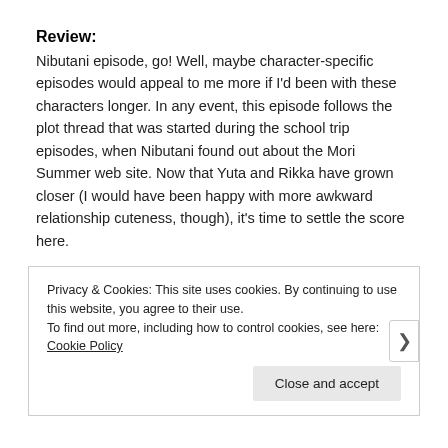Review:
Nibutani episode, go! Well, maybe character-specific episodes would appeal to me more if I'd been with these characters longer. In any event, this episode follows the plot thread that was started during the school trip episodes, when Nibutani found out about the Mori Summer web site. Now that Yuta and Rikka have grown closer (I would have been happy with more awkward relationship cuteness, though), it's time to settle the score here.
Privacy & Cookies: This site uses cookies. By continuing to use this website, you agree to their use.
To find out more, including how to control cookies, see here: Cookie Policy